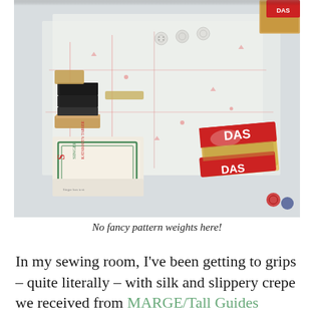[Figure (photo): A flat lay photograph showing a white table surface with sewing pattern tissue paper, scattered buttons, two stacked small black books on a wooden block, a vintage Singer sewing box (green and white), a red and gold DAS air-dry clay package, and other craft items used as pattern weights.]
No fancy pattern weights here!
In my sewing room, I've been getting to grips – quite literally – with silk and slippery crepe we received from MARGE/Tall Guides